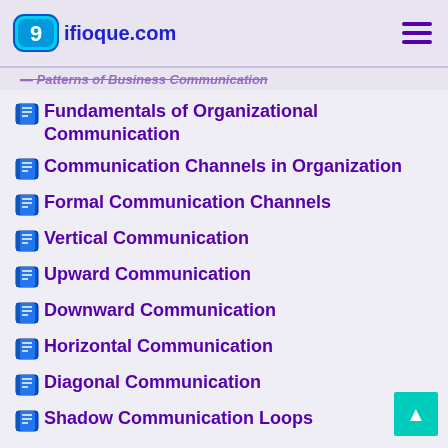9ifioque.com
Patterns of Business Communication
Fundamentals of Organizational Communication
Communication Channels in Organization
Formal Communication Channels
Vertical Communication
Upward Communication
Downward Communication
Horizontal Communication
Diagonal Communication
Shadow Communication Loops